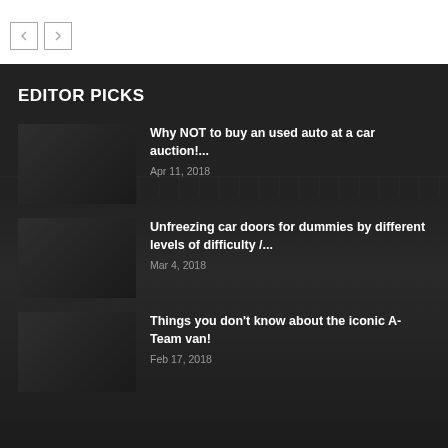EDITOR PICKS
Why NOT to buy an used auto at a car auction!...
Apr 11, 2018
Unfreezing car doors for dummies by different levels of difficulty /...
Mar 4, 2018
Things you don't know about the iconic A-Team van!
Feb 17, 2018